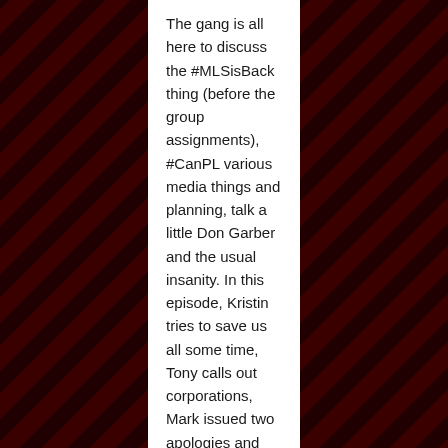The gang is all here to discuss the #MLSisBack thing (before the group assignments), #CanPL various media things and planning, talk a little Don Garber and the usual insanity. In this episode, Kristin tries to save us all some time, Tony calls out corporations, Mark issued two apologies and Duncan shouts out the ‘Peg. Vysheshaya Liga Week 12 New ‘fan’ account If you can, become a supporter through our Patreon. Thank...
Read More